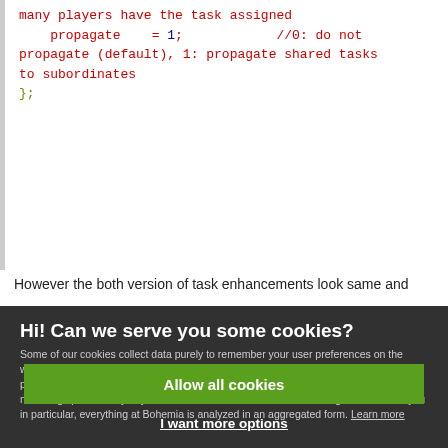many players have the task assigned
    propagate    = 1;            //0: do not propagate (default), 1: propagate shared tasks to subordinates
};
However the both version of task enhancements look same and
Hi! Can we serve you some cookies?
Some of our cookies collect data purely to remember your user preferences on the website. In case of analytical or marketing cookies, we always collect as little data as possible to make sure we keep our marketing well targeted - which often results in you not being spammed by any of our ads at all. We're also never looking at data about you in particular, everything at Bohemia is analyzed in an aggregated form. Learn more
Allow all cookies
I want more options